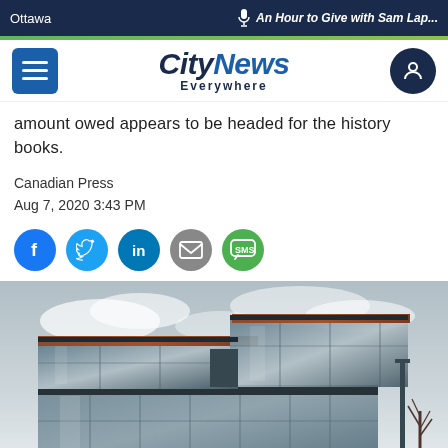Ottawa | An Hour to Give with Sam Lap...
amount owed appears to be headed for the history books.
Canadian Press
Aug 7, 2020 3:43 PM
[Figure (screenshot): Social sharing icons: Facebook, Twitter, LinkedIn, Email, SMS]
[Figure (photo): Modern glass and steel building with overhanging upper floors against a cloudy sky, with bare trees visible at right]